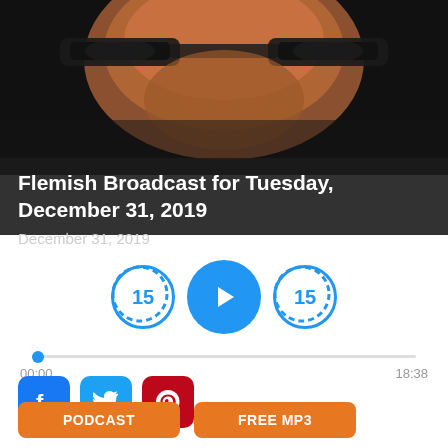[Figure (photo): Close-up photo of an elderly man with thick dark-rimmed glasses, shown from nose up, dark background]
Flemish Broadcast for Tuesday, December 31, 2019
December 31, 2019
[Figure (infographic): Audio player controls: rewind 15s button, play button, forward 15s button; progress bar from 00:00 to 18:38]
[Figure (infographic): Social share buttons: Facebook, Twitter, Pinterest]
PODCAST
FREE MP3